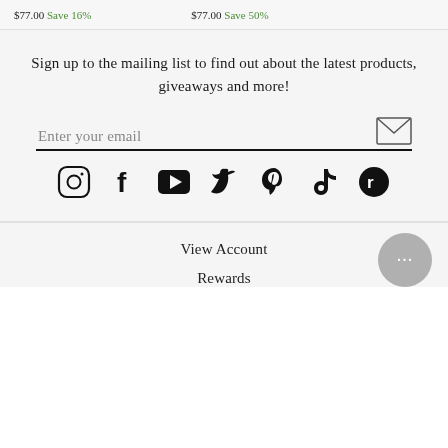$77.00 Save 16%   $77.00 Save 50%
Sign up to the mailing list to find out about the latest products, giveaways and more!
Enter your email
[Figure (infographic): Social media icons row: Instagram, Facebook, YouTube, Twitter, Pinterest, TikTok, Rumble]
View Account
Rewards